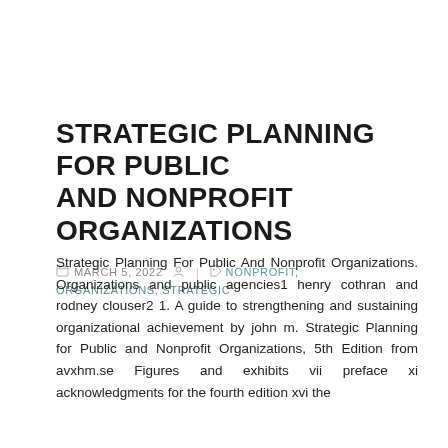STRATEGIC PLANNING FOR PUBLIC AND NONPROFIT ORGANIZATIONS
MARCH 5, 2022   |   NONPROFIT, ORGANIZATIONS, STRATEGIC
Strategic Planning For Public And Nonprofit Organizations. Organizations and public agencies1 henry cothran and rodney clouser2 1. A guide to strengthening and sustaining organizational achievement by john m. Strategic Planning for Public and Nonprofit Organizations, 5th Edition from avxhm.se Figures and exhibits vii preface xi acknowledgments for the fourth edition xvi the